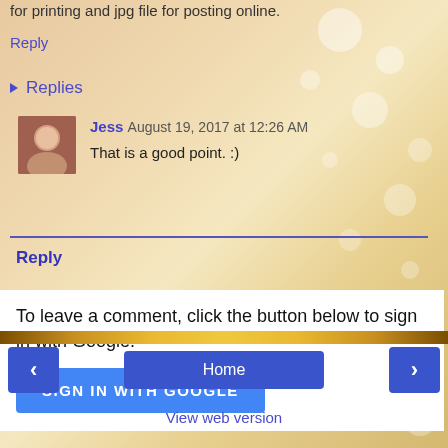for printing and jpg file for posting online.
Reply
▸ Replies
Jess August 19, 2017 at 12:26 AM
That is a good point. :)
Reply
To leave a comment, click the button below to sign in with Google.
SIGN IN WITH GOOGLE
Home
View web version